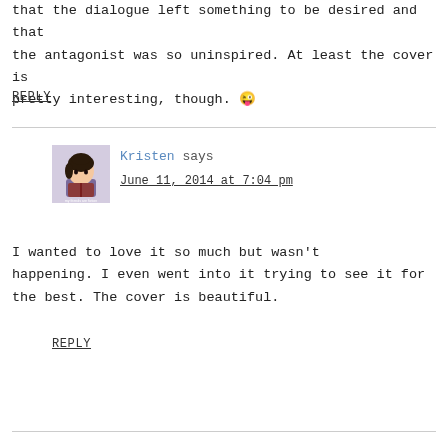that the dialogue left something to be desired and that the antagonist was so uninspired. At least the cover is pretty interesting, though. 😜
REPLY
[Figure (photo): Avatar image of a cartoon girl reading a book, with text 'my friends are fiction' at bottom]
Kristen says
June 11, 2014 at 7:04 pm
I wanted to love it so much but wasn't happening. I even went into it trying to see it for the best. The cover is beautiful.
REPLY